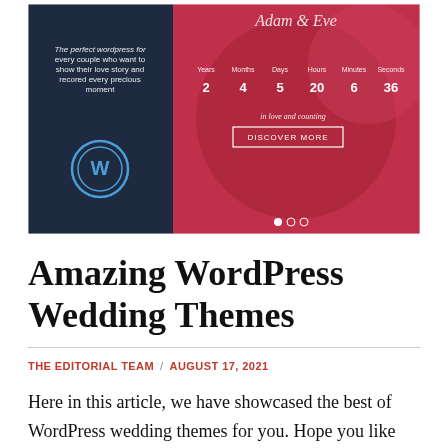[Figure (screenshot): Screenshot of a WordPress wedding theme website showing a dark navy left panel with the WordPress logo and text 'The perfect wordpress for every couple who want to show their love story and recored every precious moment', and a pink/red right panel showing a countdown timer with Years: 2, Months: 4, Days: 5, Hours: 20, Minutes: 6, Seconds: 36, with text 'in love and counting' and a 'DISCOVER MORE' button.]
Amazing WordPress Wedding Themes
THE EDITORIAL TEAM / AUGUST 17, 2021
Here in this article, we have showcased the best of WordPress wedding themes for you. Hope you like the collection.